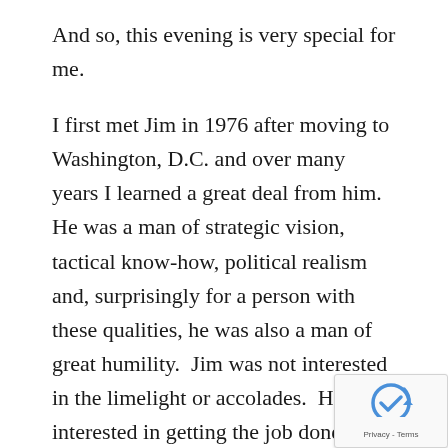And so, this evening is very special for me.
I first met Jim in 1976 after moving to Washington, D.C. and over many years I learned a great deal from him.  He was a man of strategic vision, tactical know-how, political realism and, surprisingly for a person with these qualities, he was also a man of great humility.  Jim was not interested in the limelight or accolades.  He was interested in getting the job done.
He knew Capitol Hill needed a dependable prolife network and so he founded the Ad Hoc Committee in Defense of Life.  He knew those of us working on the Hill needed timely news about what was happening in the movement as well as